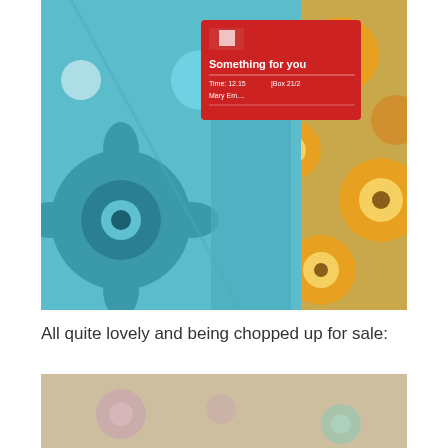[Figure (photo): Photo of folded floral fabric in teal/blue colors with large flower patterns, with a red Royal Mail 'Something for you' missed delivery card on top. Background shows orange/yellow floral patterned fabric.]
All quite lovely and being chopped up for sale:
[Figure (photo): Partial photo showing beige/linen fabric with floral embroidery or print in pink and teal colors, cropped at bottom of page.]